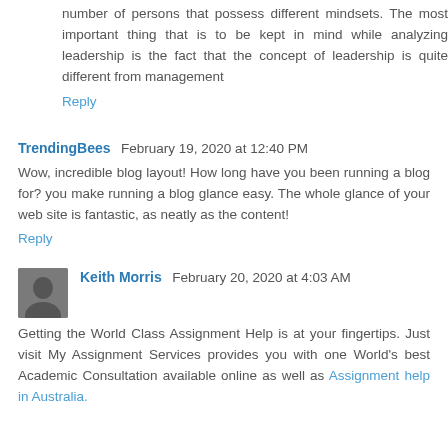number of persons that possess different mindsets. The most important thing that is to be kept in mind while analyzing leadership is the fact that the concept of leadership is quite different from management
Reply
TrendingBees  February 19, 2020 at 12:40 PM
Wow, incredible blog layout! How long have you been running a blog for? you make running a blog glance easy. The whole glance of your web site is fantastic, as neatly as the content!
Reply
Keith Morris  February 20, 2020 at 4:03 AM
Getting the World Class Assignment Help is at your fingertips. Just visit My Assignment Services provides you with one World's best Academic Consultation available online as well as Assignment help in Australia.